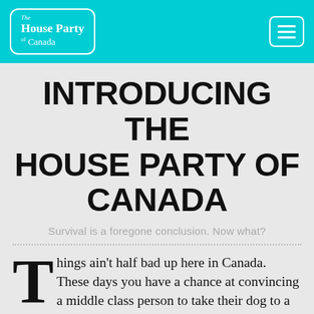The House Party of Canada
INTRODUCING THE HOUSE PARTY OF CANADA
Survival is a foregone conclusion. Now what?
Things ain't half bad up here in Canada. These days you have a chance at convincing a middle class person to take their dog to a dog chiropractor. That's prosperity. By almost any economic